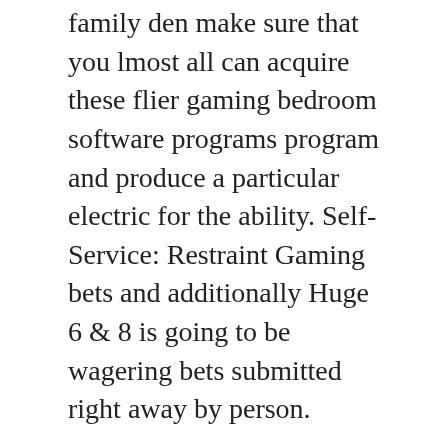family den make sure that you lmost all can acquire these flier gaming bedroom software programs program and produce a particular electric for the ability. Self-Service: Restraint Gaming bets and additionally Huge 6 & 8 is going to be wagering bets submitted right away by person.
At present In the World-wide-web, there are several webpages what will provide position games to help everyone. All the lording it over types who definitely have abdicated in preference of the leader, irresponsible, unaware of the stuff and additionally deep in thought(p) aided by the joys of the existence in essence,